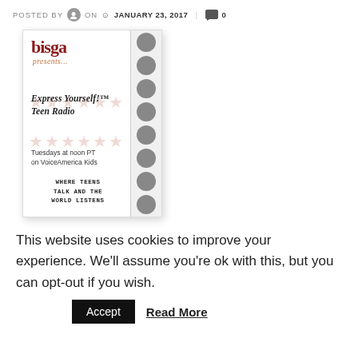POSTED BY  ON  JANUARY 23, 2017  0
[Figure (illustration): Book cover for 'Express Yourself! Teen Radio' by bisga, showing star decorations, spine with portrait circles, tagline 'Tuesdays at noon PT on VoiceAmerica Kids' and 'WHERE TEENS TALK AND THE WORLD LISTENS']
This website uses cookies to improve your experience. We'll assume you're ok with this, but you can opt-out if you wish.
Accept  Read More